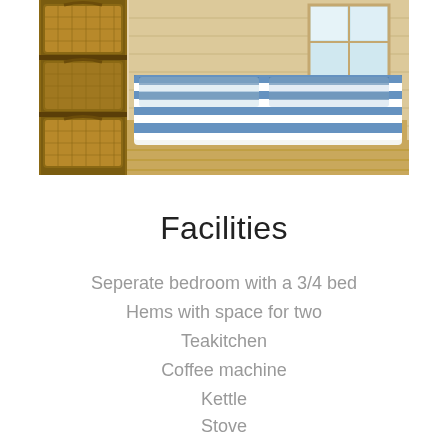[Figure (photo): Interior of a wooden cabin room showing a bed with blue and white striped bedding, wicker storage baskets on the left, and a window in the background with light wood plank walls.]
Facilities
Seperate bedroom with a 3/4 bed
Hems with space for two
Teakitchen
Coffee machine
Kettle
Stove
TV
Duvets & Pillows
Bath and toilet